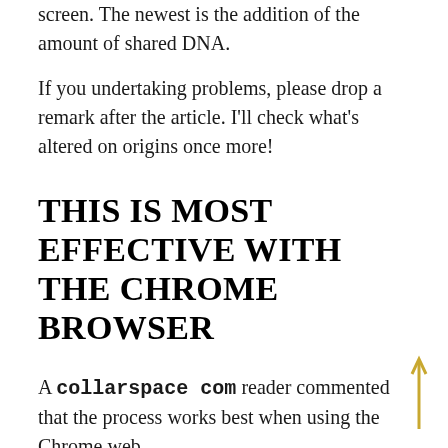screen. The newest is the addition of the amount of shared DNA.
If you undertaking problems, please drop a remark after the article. I'll check what's altered on origins once more!
THIS IS MOST EFFECTIVE WITH THE CHROME BROWSER
A collarspace com reader commented that the process works best when using the Chrome web